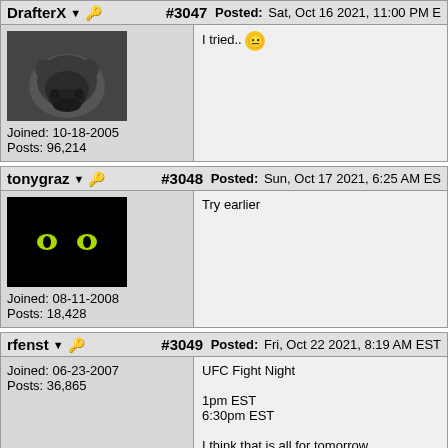DrafterX #3047 Posted: Sat, Oct 16 2021, 11:00 PM E
Joined: 10-18-2005
Posts: 96,214
I tried.. 🙂
tonygraz #3048 Posted: Sun, Oct 17 2021, 6:25 AM ES
Joined: 08-11-2008
Posts: 18,428
Try earlier
rfenst #3049 Posted: Fri, Oct 22 2021, 8:19 AM EST
Joined: 06-23-2007
Posts: 36,865
UFC Fight Night

1pm EST
6:30pm EST

I think that is all for tomorrow. Corrections. if neces
tonygraz #3050 Posted: Sat, Oct 23 2021, 6:35 PM ES
Joined: 08-11-2008
7:30 PM EST nobody on.